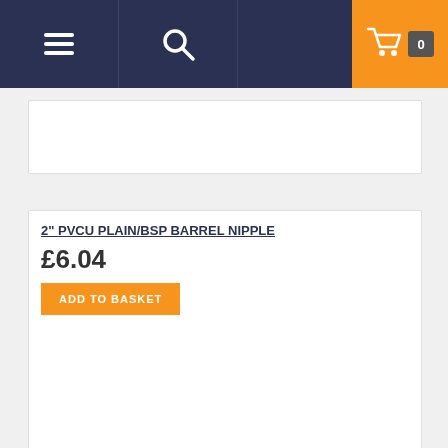Navigation bar with menu, search, and cart (0 items)
2" PVCU PLAIN/BSP BARREL NIPPLE
£6.04
ADD TO BASKET
PVCU PLAIN/BSP TANK CONNECTOR
£67.14
ADD TO BASKET
Cookie Policy
This site uses cookies to store information on your computer.
Happy to accept?